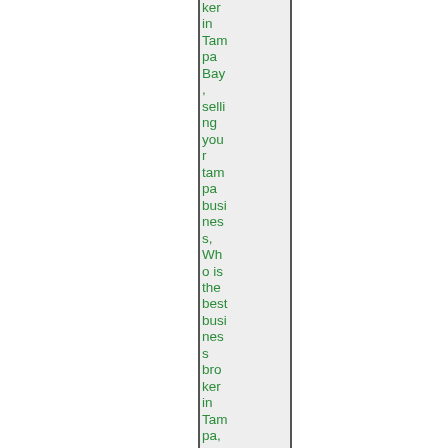ker in Tampa Bay, selling your tampa businesses, Who is the best business broker in Tampa, Tampa